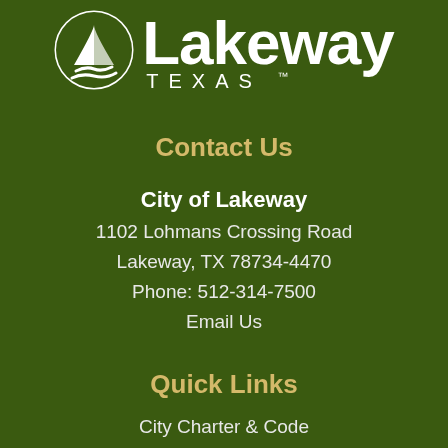[Figure (logo): City of Lakeway Texas logo with sailboat icon and text 'Lakeway TEXAS']
Contact Us
City of Lakeway
1102 Lohmans Crossing Road
Lakeway, TX 78734-4470
Phone: 512-314-7500
Email Us
Quick Links
City Charter & Code